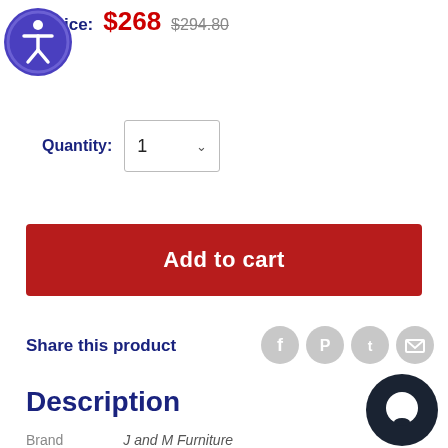Price: $268  $294.80
[Figure (illustration): Accessibility icon button - circular purple button with white figure/person icon]
Quantity: 1
Add to cart
Share this product
[Figure (illustration): Social share icons: Facebook, Pinterest, Twitter, Email - grey circular buttons]
Description
[Figure (illustration): Dark circular chat/messaging widget button in bottom right]
Brand    J and M Furniture